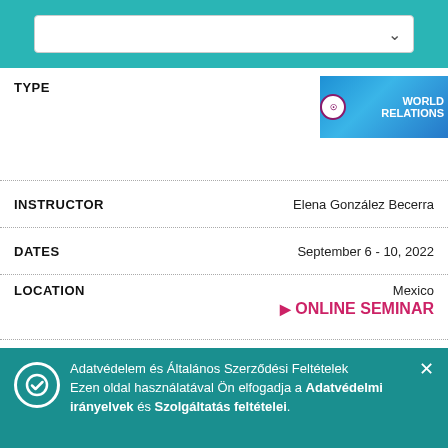[Figure (screenshot): Dropdown selector box in teal top navigation bar]
TYPE
[Figure (logo): World Relations logo with globe and blue banner]
INSTRUCTOR  Elena González Becerra
DATES  September 6 - 10, 2022
LOCATION  Mexico  ONLINE SEMINAR
Tudj meg többet
TYPE
[Figure (logo): You and God logo with person raising arms on sky background]
IN  ...evic
D  ...022
Serbi...
Adatvédelem és Általános Szerződési Feltételek Ezen oldal használatával Ön elfogadja a Adatvédelmi irányelvek és Szolgáltatás feltételei.